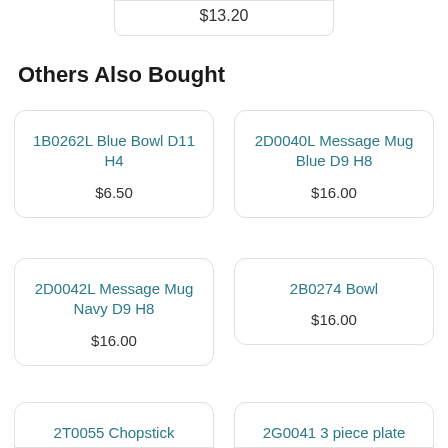$13.20
Others Also Bought
1B0262L Blue Bowl D11 H4
$6.50
2D0040L Message Mug Blue D9 H8
$16.00
2D0042L Message Mug Navy D9 H8
$16.00
2B0274 Bowl
$16.00
2T0055 Chopstick
2G0041 3 piece plate